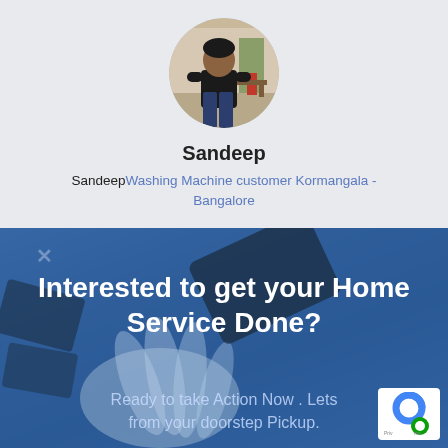[Figure (photo): Circular profile photo of a man named Sandeep standing indoors]
Sandeep
SandeepWashing Machine customer Kormangala - Bangalore
[Figure (photo): Blue-toned background photo of tools/devices on a surface with text overlay]
Interested to get your Home Service Done?
Ready to take Action Now . Lets from your doorstep Pickup.